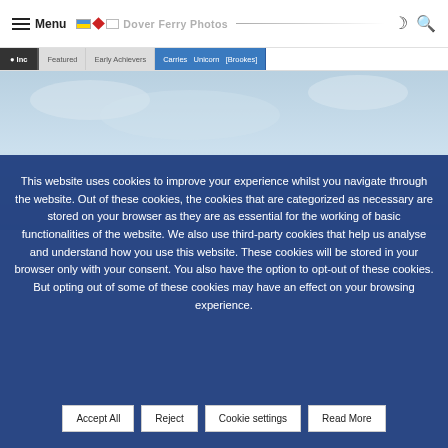Menu | Dover Ferry Photos
[Figure (screenshot): Website header with navigation bar showing menu, logo (Dover Ferry Photos), and icons for dark mode and search. Navigation tabs below show: [active tab], Featured, Early Achievers, Carries, Unicorn, [Brookes]]
[Figure (photo): Partial photograph of sky with clouds, light blue and grey tones, ferry or maritime scene background]
This website uses cookies to improve your experience whilst you navigate through the website. Out of these cookies, the cookies that are categorized as necessary are stored on your browser as they are as essential for the working of basic functionalities of the website. We also use third-party cookies that help us analyse and understand how you use this website. These cookies will be stored in your browser only with your consent. You also have the option to opt-out of these cookies. But opting out of some of these cookies may have an effect on your browsing experience.
Accept All
Reject
Cookie settings
Read More